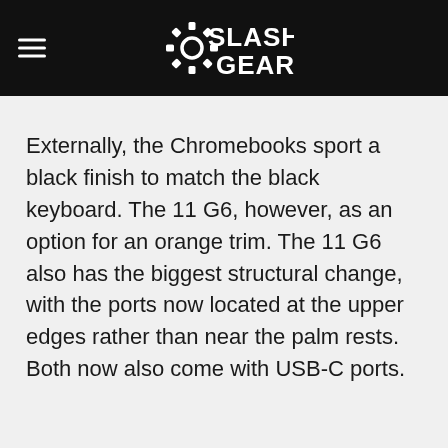SlashGear
Externally, the Chromebooks sport a black finish to match the black keyboard. The 11 G6, however, as an option for an orange trim. The 11 G6 also has the biggest structural change, with the ports now located at the upper edges rather than near the palm rests. Both now also come with USB-C ports.